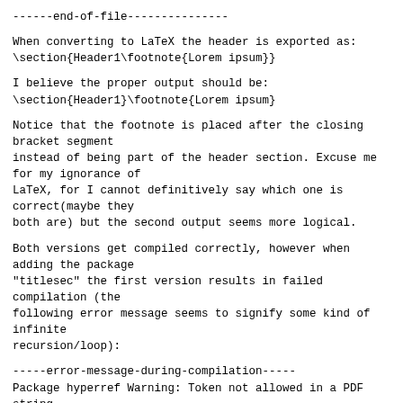------end-of-file---------------
When converting to LaTeX the header is exported as:
\section{Header1\footnote{Lorem ipsum}}
I believe the proper output should be:
\section{Header1}\footnote{Lorem ipsum}
Notice that the footnote is placed after the closing bracket segment
instead of being part of the header section. Excuse me for my ignorance of
LaTeX, for I cannot definitively say which one is correct(maybe they
both are) but the second output seems more logical.
Both versions get compiled correctly, however when adding the package
"titlesec" the first version results in failed compilation (the
following error message seems to signify some kind of infinite
recursion/loop):
-----error-message-during-compilation-----
Package hyperref Warning: Token not allowed in a PDF string
(PDFDocEncoding):
(hyperref)                removing `\@ifnextchar' on
input line 32.